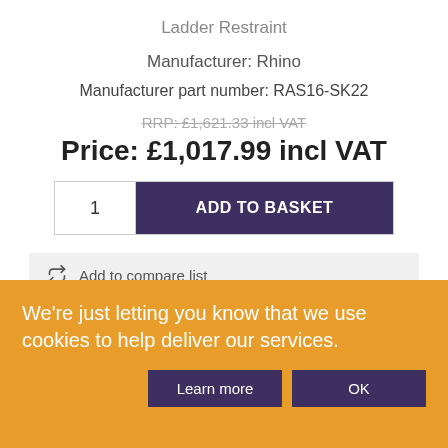Ladder Restraint
Manufacturer: Rhino
Manufacturer part number: RAS16-SK22
RRP: £1,621.33 incl VAT
Price: £1,017.99 incl VAT
1  ADD TO BASKET
Add to compare list
Email a friend
We're just letting you know that we use cookies to help deliver our services.
Learn more
OK